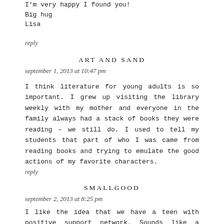I'm very happy I found you!
Big hug
Lisa
reply
ART AND SAND
september 1, 2013 at 10:47 pm
I think literature for young adults is so important. I grew up visiting the library weekly with my mother and everyone in the family always had a stack of books they were reading – we still do. I used to tell my students that part of who I was came from reading books and trying to emulate the good actions of my favorite characters.
reply
SMALLGOOD
september 2, 2013 at 8:25 pm
I like the idea that we have a teen with positive support network. Sounds like a good, wholesome read.